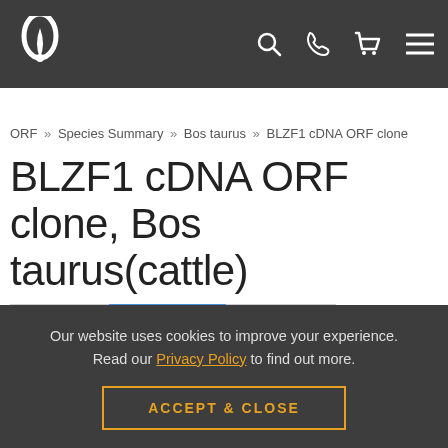BLZF1 cDNA ORF clone, Bos taurus — navigation bar with logo and icons
ORF » Species Summary » Bos taurus » BLZF1 cDNA ORF clone
BLZF1 cDNA ORF clone, Bos taurus(cattle)
Gene | Clones | gRNAs
Our website uses cookies to improve your experience. Read our Privacy Policy to find out more.
ACCEPT & CLOSE